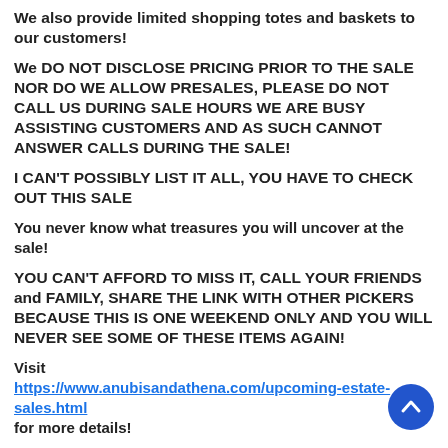We also provide limited shopping totes and baskets to our customers!
We DO NOT DISCLOSE PRICING PRIOR TO THE SALE NOR DO WE ALLOW PRESALES, PLEASE DO NOT CALL US DURING SALE HOURS WE ARE BUSY ASSISTING CUSTOMERS AND AS SUCH CANNOT ANSWER CALLS DURING THE SALE!
I CAN'T POSSIBLY LIST IT ALL, YOU HAVE TO CHECK OUT THIS SALE
You never know what treasures you will uncover at the sale!
YOU CAN'T AFFORD TO MISS IT, CALL YOUR FRIENDS and FAMILY, SHARE THE LINK WITH OTHER PICKERS BECAUSE THIS IS ONE WEEKEND ONLY AND YOU WILL NEVER SEE SOME OF THESE ITEMS AGAIN!
Visit https://www.anubisandathena.com/upcoming-estate-sales.html for more details!